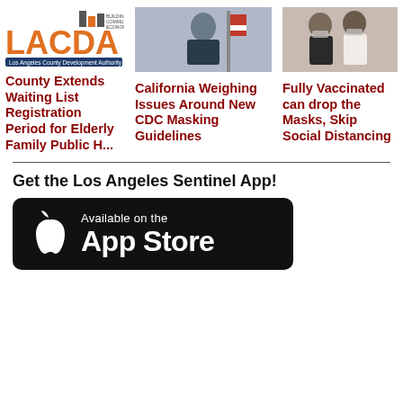[Figure (logo): LACDA - Los Angeles County Development Authority logo with bar chart icon and text]
[Figure (photo): Photo of a man in a suit at a podium with US flag in background]
[Figure (photo): Photo of two women wearing masks outdoors]
County Extends Waiting List Registration Period for Elderly Family Public H...
California Weighing Issues Around New CDC Masking Guidelines
Fully Vaccinated can drop the Masks, Skip Social Distancing
Get the Los Angeles Sentinel App!
[Figure (logo): Download on the App Store badge - black rounded rectangle with Apple logo and text 'Available on the App Store']